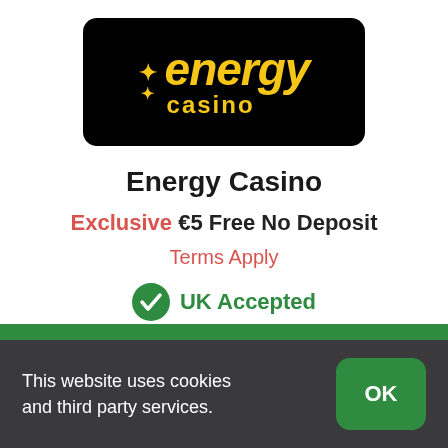[Figure (logo): Energy Casino logo: black rounded rectangle with yellow 'energy casino' text and star/plus symbols]
Energy Casino
Exclusive €5 Free No Deposit
Terms Apply
UK Accepted
This website uses cookies and third party services.
OK